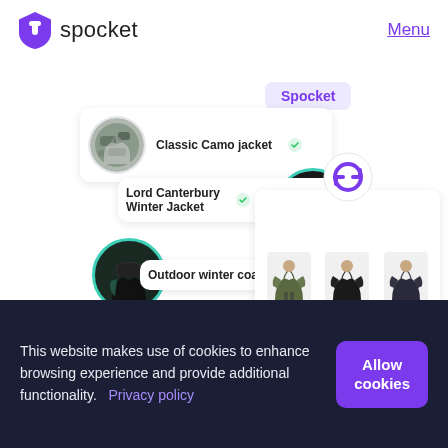[Figure (logo): Spocket logo - purple shield icon with white bag/tag mark]
Menu
[Figure (illustration): Spocket product search UI illustration showing Classic Camo jacket, Lord Canterbury Winter Jacket, and Outdoor winter coat items with circular product photos and product cards, plus a panel of jacket thumbnails on the right]
This website makes use of cookies to enhance browsing experience and provide additional functionality.   Privacy policy
Allow cookies